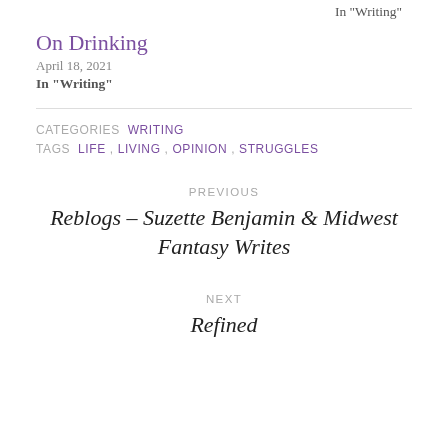In "Writing"
On Drinking
April 18, 2021
In "Writing"
CATEGORIES  WRITING
TAGS  LIFE ,  LIVING ,  OPINION ,  STRUGGLES
PREVIOUS
Reblogs – Suzette Benjamin & Midwest Fantasy Writes
NEXT
Refined